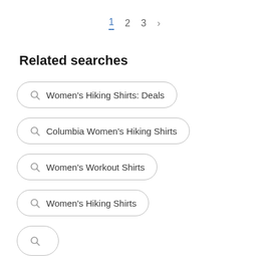1  2  3  >
Related searches
Women's Hiking Shirts: Deals
Columbia Women's Hiking Shirts
Women's Workout Shirts
Women's Hiking Shirts
(partial, cut off)